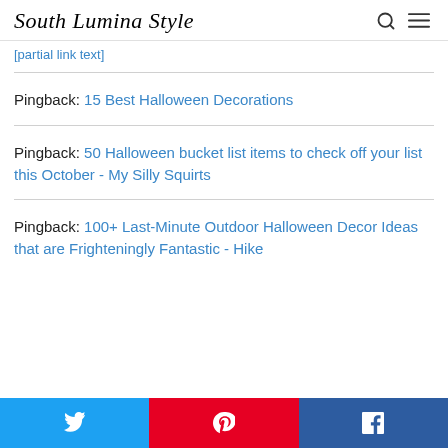South Lumina Style
Pingback: 15 Best Halloween Decorations
Pingback: 50 Halloween bucket list items to check off your list this October - My Silly Squirts
Pingback: 100+ Last-Minute Outdoor Halloween Decor Ideas that are Frighteningly Fantastic - Hike